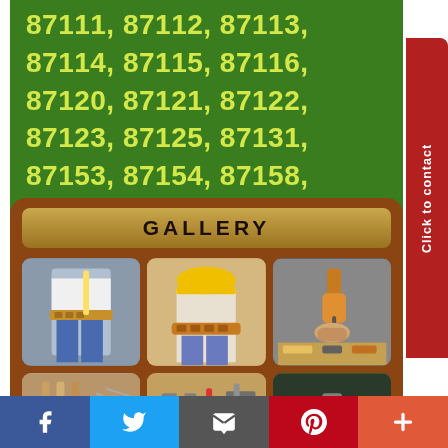87120, 87121, 87122, 87123, 87125, 87131, 87153, 87154, 87158, 87176, 87181, 87187, 87190, 87191, 87192, 87193, 87194, 87196, 87197, 87198, 87199.
GALLERY
[Figure (photo): Construction worker with tool belt holding a level]
[Figure (photo): Worker with yellow hard hat and tool belt]
[Figure (photo): Hand using an electric drill on a surface]
[Figure (photo): Construction tools and brushes on wood]
[Figure (photo): Tools on wooden surface]
[Figure (photo): Worker with gloves holding tools]
Click to contact
f  (Twitter bird)  (email)  p  +